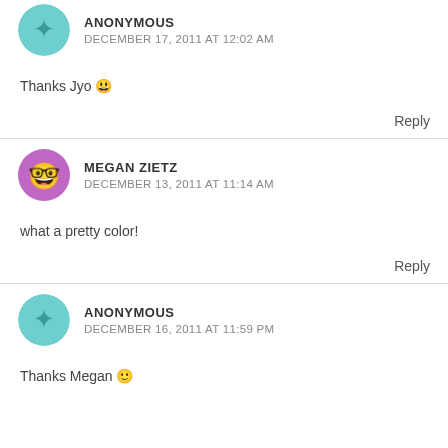ANONYMOUS
DECEMBER 17, 2011 AT 12:02 AM
Thanks Jyo 😀
Reply
MEGAN ZIETZ
DECEMBER 13, 2011 AT 11:14 AM
what a pretty color!
Reply
ANONYMOUS
DECEMBER 16, 2011 AT 11:59 PM
Thanks Megan 🙂